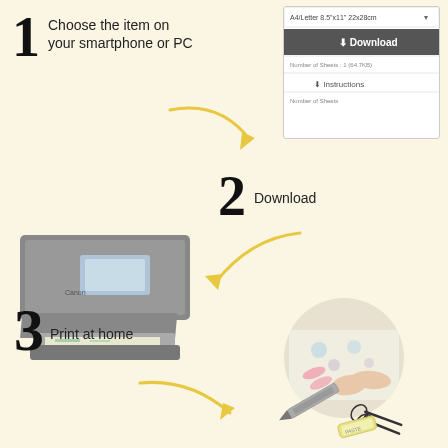1 Choose the item on your smartphone or PC
[Figure (screenshot): Screenshot of a download UI showing A4/Letter size selector, a dark Download button, and an Instructions link]
2 Download
[Figure (photo): Photo of a Canon inkjet printer printing a sheet]
3 Print at home
[Figure (photo): Circular photo of hands cutting printed paper with pink scissors, plus illustrations of scissors, a craft knife, and a glue stick]
[Figure (illustration): Yellow curved arrows connecting the three steps]